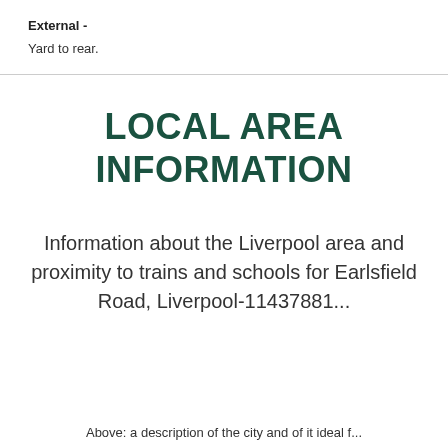External -
Yard to rear.
LOCAL AREA INFORMATION
Information about the Liverpool area and proximity to trains and schools for Earlsfield Road, Liverpool-11437881...
Above: a description of the city and of it ideal f...